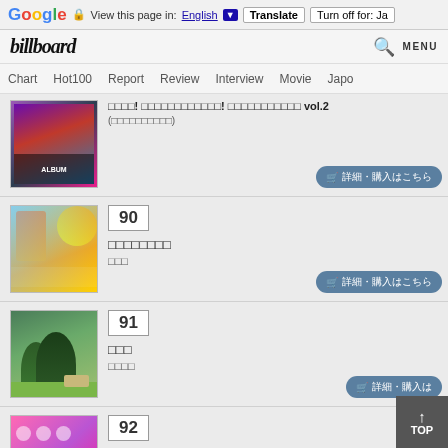Google  View this page in: English ▼  Translate  Turn off for: Ja
billboard  MENU
Chart  Hot100  Report  Review  Interview  Movie  Japo
[Figure (illustration): Anime album art with colorful characters, partial entry with vol.2 title and purchase button]
□□□□! □□□□□□□□□□□□! □□□□□□□□□□□ vol.2 (□□□□□□□□□□)
[Figure (illustration): Anime character with rainbow background, rank 90]
90
□□□□□□□□
□□□
[Figure (photo): Nature/park scene with tree, rank 91]
91
□□□
□□□□
[Figure (photo): Group photo with pink/colorful theme, rank 92]
92
□□□!□□□□□□□□ 20th Anniversary